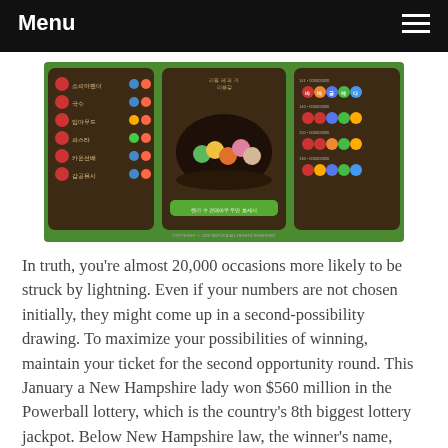Menu
[Figure (screenshot): Screenshot of a Korean mobile lottery or game app showing three dark brown panels on a green background. The left panel shows a list of game categories with Korean text and colored icons. The center panel shows a bowl with colorful balls and a green button with Korean text. The right panel shows lottery number combinations. A copyright notice is at the bottom.]
In truth, you’re almost 20,000 occasions more likely to be struck by lightning. Even if your numbers are not chosen initially, they might come up in a second-possibility drawing. To maximize your possibilities of winning, maintain your ticket for the second opportunity round. This January a New Hampshire lady won $560 million in the Powerball lottery, which is the country’s 8th biggest lottery jackpot. Below New Hampshire law, the winner’s name, town and winning amount are public record. Mainly because the woman signed the ticket in her personal name, state officials